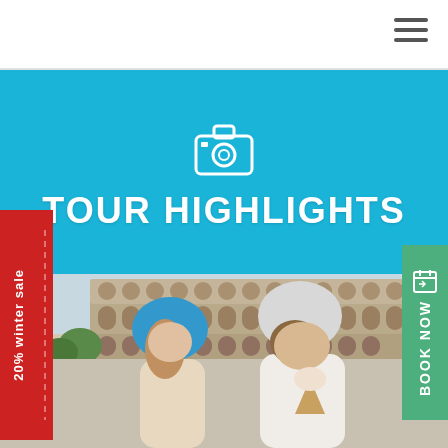TOUR HIGHLIGHTS
[Figure (photo): Two cyclists wearing helmets (woman in blue, man in white) eating gelato in front of the Colosseum in Rome, Italy]
20% winter sale
BOOK NOW